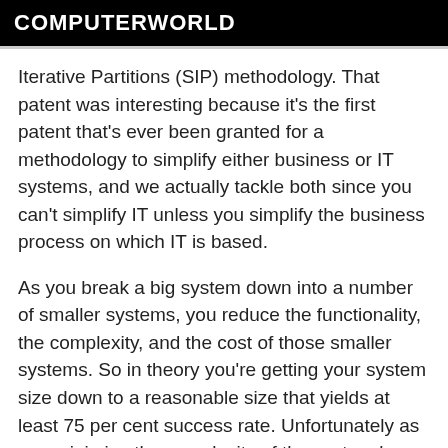COMPUTERWORLD
Iterative Partitions (SIP) methodology. That patent was interesting because it's the first patent that's ever been granted for a methodology to simplify either business or IT systems, and we actually tackle both since you can't simplify IT unless you simplify the business process on which IT is based.
As you break a big system down into a number of smaller systems, you reduce the functionality, the complexity, and the cost of those smaller systems. So in theory you're getting your system size down to a reasonable size that yields at least 75 per cent success rate. Unfortunately as you minimize the complexity of the system by breaking it down, you